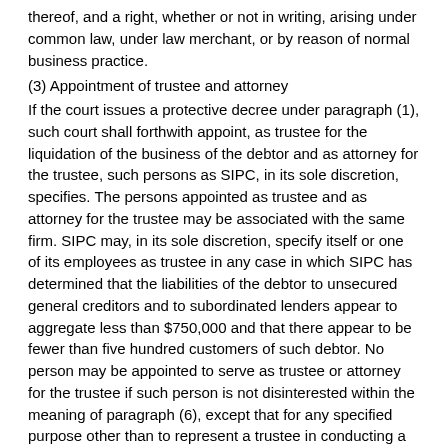thereof, and a right, whether or not in writing, arising under common law, under law merchant, or by reason of normal business practice.
(3) Appointment of trustee and attorney
If the court issues a protective decree under paragraph (1), such court shall forthwith appoint, as trustee for the liquidation of the business of the debtor and as attorney for the trustee, such persons as SIPC, in its sole discretion, specifies. The persons appointed as trustee and as attorney for the trustee may be associated with the same firm. SIPC may, in its sole discretion, specify itself or one of its employees as trustee in any case in which SIPC has determined that the liabilities of the debtor to unsecured general creditors and to subordinated lenders appear to aggregate less than $750,000 and that there appear to be fewer than five hundred customers of such debtor. No person may be appointed to serve as trustee or attorney for the trustee if such person is not disinterested within the meaning of paragraph (6), except that for any specified purpose other than to represent a trustee in conducting a liquidation proceeding, the trustee may, with the approval of SIPC and the court, employ an attorney who is not disinterested. A trustee appointed under this paragraph shall qualify by filing a bond in the manner prescribed by section 322 of title 11, except that neither SIPC nor any employee of SIPC shall be required to file a bond when appointed as trustee.